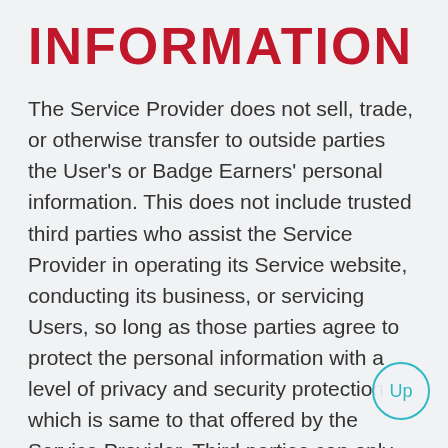INFORMATION
The Service Provider does not sell, trade, or otherwise transfer to outside parties the User’s or Badge Earners’ personal information. This does not include trusted third parties who assist the Service Provider in operating its Service website, conducting its business, or servicing Users, so long as those parties agree to protect the personal information with a level of privacy and security protection which is same to that offered by the Service Provider. Third parties can only use or disclose personal information for purposes which have been authorized by the User in this Privacy Policy to provide necessary services to the Service Provider as specified in the contract